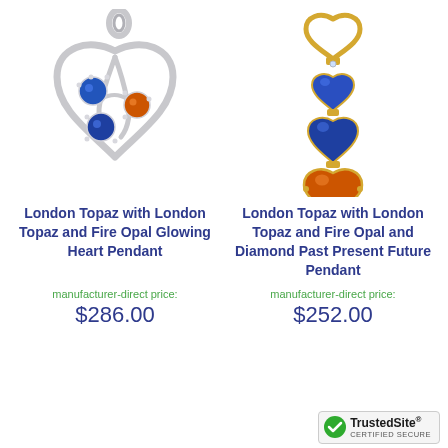[Figure (photo): Silver heart-shaped pendant with blue London Topaz and orange Fire Opal gemstones set inside an open heart design with decorative swirls.]
London Topaz with London Topaz and Fire Opal Glowing Heart Pendant
manufacturer-direct price:
$286.00
[Figure (photo): Gold drop pendant featuring three descending heart-shaped stones: two blue London Topaz hearts and one orange Fire Opal heart, with a diamond accent, topped by a gold open heart bail.]
London Topaz with London Topaz and Fire Opal and Diamond Past Present Future Pendant
manufacturer-direct price:
$252.00
[Figure (logo): TrustedSite CERTIFIED SECURE badge with green checkmark.]